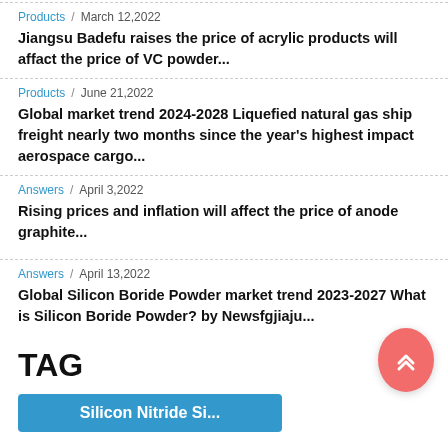Products / March 12,2022 — Jiangsu Badefu raises the price of acrylic products will affact the price of VC powder...
Products / June 21,2022 — Global market trend 2024-2028 Liquefied natural gas ship freight nearly two months since the year's highest impact aerospace cargo...
Answers / April 3,2022 — Rising prices and inflation will affect the price of anode graphite...
Answers / April 13,2022 — Global Silicon Boride Powder market trend 2023-2027 What is Silicon Boride Powder? by Newsfgjiaju...
TAG
Silicon Nitride Si...